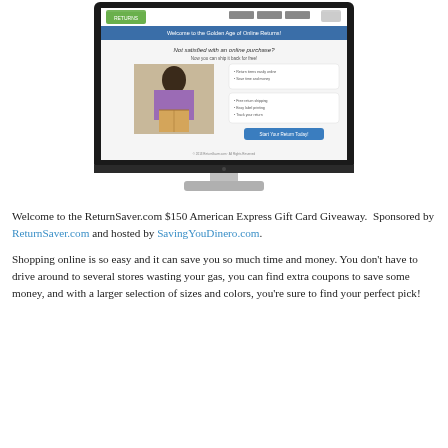[Figure (screenshot): A desktop computer monitor displaying the ReturnSaver.com website. The website shows a banner reading 'Welcome to the Golden Age of Online Returns!' and an image of a woman with a cardboard box. The monitor has a silver stand.]
Welcome to the ReturnSaver.com $150 American Express Gift Card Giveaway.  Sponsored by ReturnSaver.com and hosted by SavingYouDinero.com.
Shopping online is so easy and it can save you so much time and money. You don't have to drive around to several stores wasting your gas, you can find extra coupons to save some money, and with a larger selection of sizes and colors, you're sure to find your perfect pick!